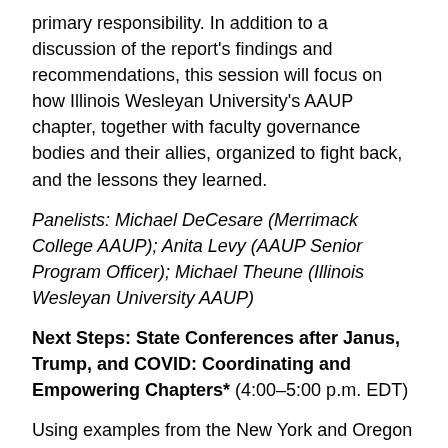primary responsibility. In addition to a discussion of the report's findings and recommendations, this session will focus on how Illinois Wesleyan University's AAUP chapter, together with faculty governance bodies and their allies, organized to fight back, and the lessons they learned.
Panelists: Michael DeCesare (Merrimack College AAUP); Anita Levy (AAUP Senior Program Officer); Michael Theune (Illinois Wesleyan University AAUP)
Next Steps: State Conferences after Janus, Trump, and COVID: Coordinating and Empowering Chapters* (4:00–5:00 p.m. EDT)
Using examples from the New York and Oregon AAUP State Conferences this session aims to give state conference leaders an idea of the diversity of conditions facing higher education in different states and thus the variety of organizational challenges facing AAUP state conferences, particularly in regards to keeping channels open between chapter and state conference leadership. At the same time, we